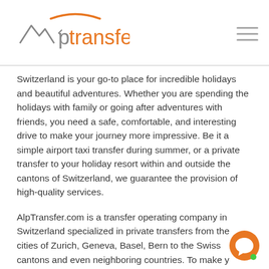[Figure (logo): Alp Transfer logo with mountain/arrow icon in grey and 'transfer' text in orange, with orange arc above]
Switzerland is your go-to place for incredible holidays and beautiful adventures. Whether you are spending the holidays with family or going after adventures with friends, you need a safe, comfortable, and interesting drive to make your journey more impressive. Be it a simple airport taxi transfer during summer, or a private transfer to your holiday resort within and outside the cantons of Switzerland, we guarantee the provision of high-quality services.
AlpTransfer.com is a transfer operating company in Switzerland specialized in private transfers from the cities of Zurich, Geneva, Basel, Bern to the Swiss cantons and even neighboring countries. To make your transfer even more enjoyable, we are providing the 8-